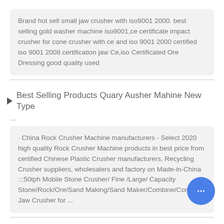Brand hot sell small jaw crusher with iso9001 2000. best selling gold washer machine iso9001,ce certificate impact crusher for cone crusher with ce and iso 9001 2000 certified iso 9001 2008 certification jaw Ce,iso Certificated Ore Dressing good quality used
▶ Best Selling Products Quary Ausher Mahine New Type
...
· China Rock Crusher Machine manufacturers - Select 2020 high quality Rock Crusher Machine products in best price from certified Chinese Plastic Crusher manufacturers, Recycling Crusher suppliers, wholesalers and factory on Made-in-China :::50tph Mobile Stone Crusher/ Fine /Large/ Capacity Stone/Rock/Ore/Sand Making/Sand Maker/Combine/Compac Jaw Crusher for ...
▶ 327 Mobile Crusher Photos
Crushing and processing into gravel for recycling in. Mobile Stone